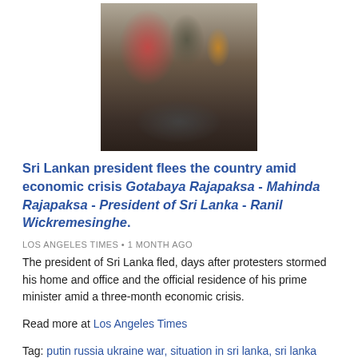[Figure (photo): People standing in a queue on a street, wearing masks, against a building backdrop. News photo related to Sri Lanka economic crisis.]
Sri Lankan president flees the country amid economic crisis Gotabaya Rajapaksa - Mahinda Rajapaksa - President of Sri Lanka - Ranil Wickremesinghe.
LOS ANGELES TIMES • 1 MONTH AGO
The president of Sri Lanka fled, days after protesters stormed his home and office and the official residence of his prime minister amid a three-month economic crisis.
Read more at Los Angeles Times
Tag: putin russia ukraine war, situation in sri lanka, sri lanka fuel crisis, sri lanka economic crisis, sri lanka president house, sri lanka protests today.